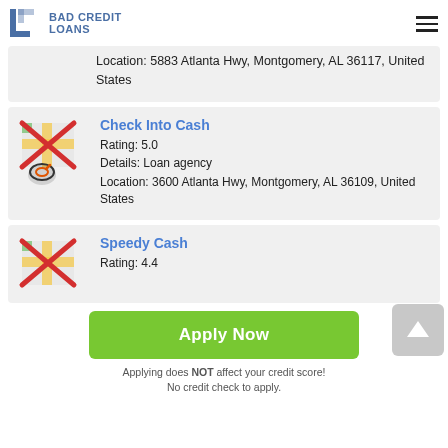Bad Credit Loans
Location: 5883 Atlanta Hwy, Montgomery, AL 36117, United States
Check Into Cash
Rating: 5.0
Details: Loan agency
Location: 3600 Atlanta Hwy, Montgomery, AL 36109, United States
Speedy Cash
Rating: 4.4
Apply Now
Applying does NOT affect your credit score!
No credit check to apply.